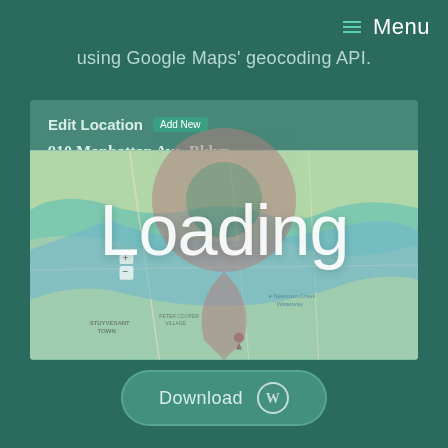Menu
using Google Maps' geocoding API.
[Figure (screenshot): WordPress admin panel showing Edit Location screen for '910 Manhattan Ave, Bklyn' with location information fields (Street Address: 910 Manhattan Avenue, City: Brooklyn, State: NY, Zip: 11222-2717) and a Google Map below showing Brooklyn/NYC area with a location pin. Over the screenshot is a large semi-transparent map pin icon and large white 'Loading' text overlay.]
Download